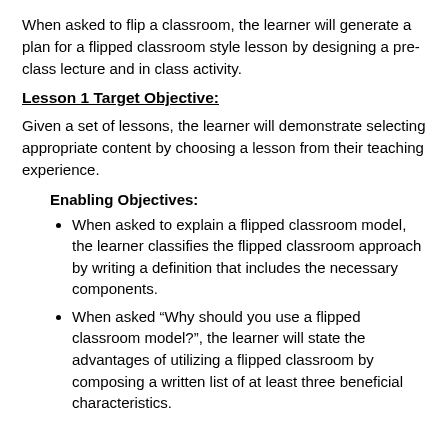When asked to flip a classroom, the learner will generate a plan for a flipped classroom style lesson by designing a pre-class lecture and in class activity.
Lesson 1 Target Objective:
Given a set of lessons, the learner will demonstrate selecting appropriate content by choosing a lesson from their teaching experience.
Enabling Objectives:
When asked to explain a flipped classroom model, the learner classifies the flipped classroom approach by writing a definition that includes the necessary components.
When asked “Why should you use a flipped classroom model?”, the learner will state the advantages of utilizing a flipped classroom by composing a written list of at least three beneficial characteristics.